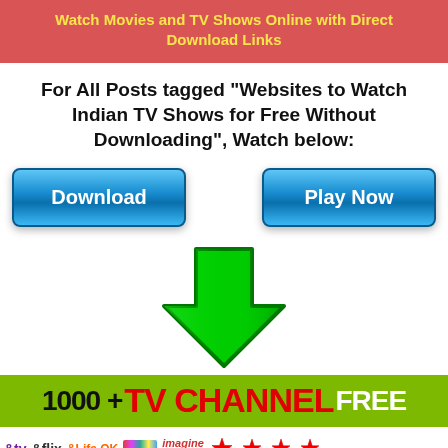Watch Movies and TV Shows Online with Direct Download Links
For All Posts tagged "Websites to Watch Indian TV Shows for Free Without Downloading", Watch below:
[Figure (infographic): Two blue gradient buttons labeled 'Download' and 'Play Now' side by side]
[Figure (illustration): Large green downward-pointing arrow]
[Figure (infographic): Green banner reading '1000 + TV CHANNEL FREE' with channel logos below including &tv, &flix, &Life OK, colors, imagine movies, Star, Star Plus, Star Gold HD, Star Gold Select]